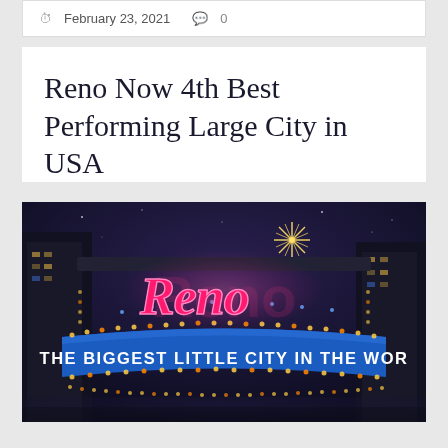February 23, 2021  0
Reno Now 4th Best Performing Large City in USA
[Figure (photo): Photograph of the Reno arch sign at night reading 'Reno — THE BIGGEST LITTLE CITY IN THE WORLD' with neon pink lettering and blue banner, decorated with lights against a dark purple night sky]